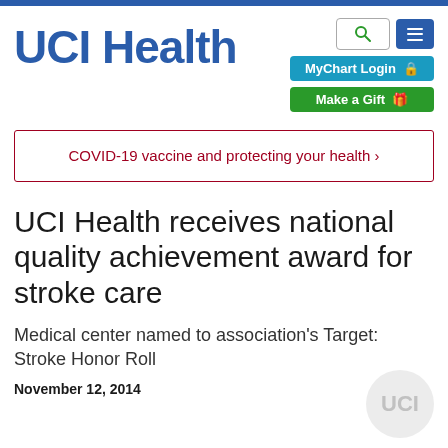[Figure (logo): UCI Health logo with navigation buttons including search, menu, MyChart Login, and Make a Gift]
COVID-19 vaccine and protecting your health ›
UCI Health receives national quality achievement award for stroke care
Medical center named to association's Target: Stroke Honor Roll
November 12, 2014